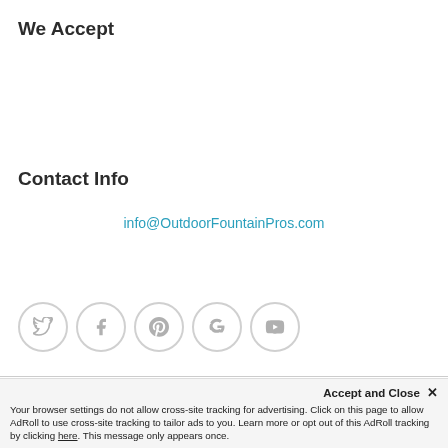We Accept
Contact Info
info@OutdoorFountainPros.com
[Figure (infographic): Row of five circular social media icon buttons: Twitter (bird), Facebook (f), Pinterest (P), Google+ (g+), YouTube (play button). Circles have light grey borders on white background.]
Accept and Close ✕
Your browser settings do not allow cross-site tracking for advertising. Click on this page to allow AdRoll to use cross-site tracking to tailor ads to you. Learn more or opt out of this AdRoll tracking by clicking here. This message only appears once.